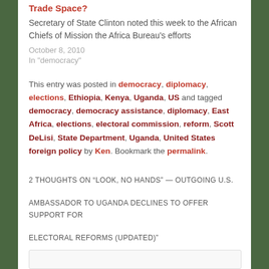Trade Space?
Secretary of State Clinton noted this week to the African Chiefs of Mission the Africa Bureau's efforts
October 8, 2010
In "democracy"
This entry was posted in democracy, diplomacy, elections, Ethiopia, Kenya, Uganda, US and tagged democracy, democracy assistance, diplomacy, East Africa, elections, electoral commission, reform, Scott DeLisi, State Department, Uganda, United States foreign policy by Ken. Bookmark the permalink.
2 THOUGHTS ON “LOOK, NO HANDS” — OUTGOING U.S. AMBASSADOR TO UGANDA DECLINES TO OFFER SUPPORT FOR ELECTORAL REFORMS (UPDATED)”